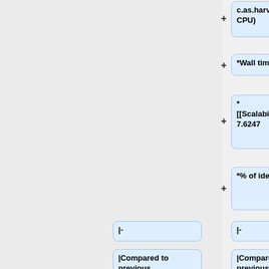c.as.harvard.edu (2.659 GHz x 8 CPU)
*Wall time: 1:38
* [[Scalability|CPU time / wall time]]: 7.6247
*% of ideal performance: 95.31
|-
|-
|Compared to previous benchmark:
|Compared to previous benchmark:
|[[#v9-01-02a|v9-01-02a]]
|[[#v9-01-02r|v9-01-02r]]
|-
|-